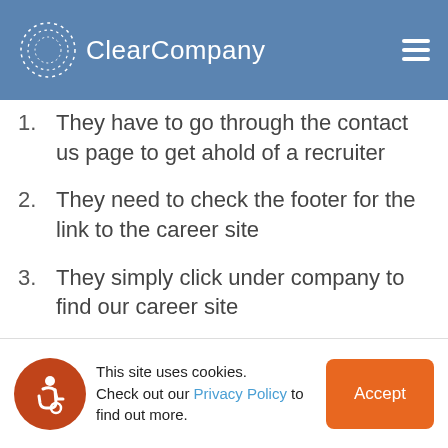ClearCompany
They have to go through the contact us page to get ahold of a recruiter
They need to check the footer for the link to the career site
They simply click under company to find our career site
Careers are front and center
A chatbot greets them and guides them through the
This site uses cookies. Check out our Privacy Policy to find out more.